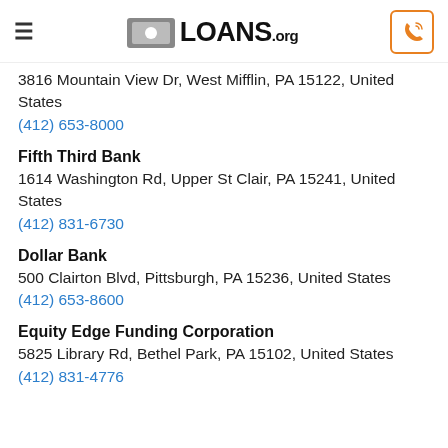LOANS.org
3816 Mountain View Dr, West Mifflin, PA 15122, United States
(412) 653-8000
Fifth Third Bank
1614 Washington Rd, Upper St Clair, PA 15241, United States
(412) 831-6730
Dollar Bank
500 Clairton Blvd, Pittsburgh, PA 15236, United States
(412) 653-8600
Equity Edge Funding Corporation
5825 Library Rd, Bethel Park, PA 15102, United States
(412) 831-4776